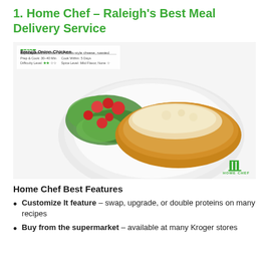1. Home Chef – Raleigh's Best Meal Delivery Service
[Figure (photo): Photo of a Home Chef meal — French Onion Chicken on a plate with a spinach and cherry tomato salad. A semi-transparent meal card overlay in the top-left corner shows the dish name, description, and details. The Home Chef logo appears in the bottom-right corner.]
Home Chef Best Features
Customize It feature – swap, upgrade, or double proteins on many recipes
Buy from the supermarket – available at many Kroger stores